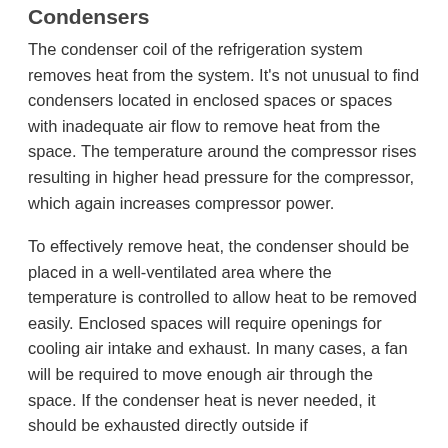Condensers
The condenser coil of the refrigeration system removes heat from the system. It's not unusual to find condensers located in enclosed spaces or spaces with inadequate air flow to remove heat from the space. The temperature around the compressor rises resulting in higher head pressure for the compressor, which again increases compressor power.
To effectively remove heat, the condenser should be placed in a well-ventilated area where the temperature is controlled to allow heat to be removed easily. Enclosed spaces will require openings for cooling air intake and exhaust. In many cases, a fan will be required to move enough air through the space. If the condenser heat is never needed, it should be exhausted directly outside if